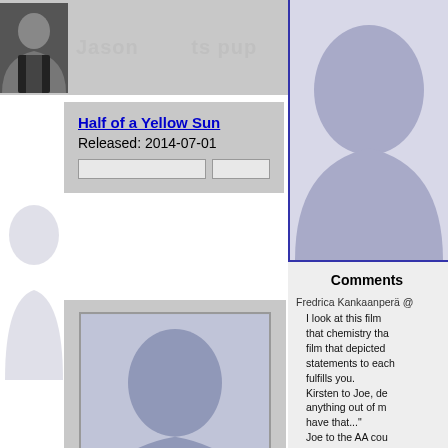[Figure (screenshot): Movie database web page screenshot showing actor profile with movie cards and comments section]
Half of a Yellow Sun
Released: 2014-07-01
[Figure (photo): Placeholder silhouette profile image for movie poster]
Laggies
Released: 2014-09-26
Comments
Fredrica Kankaanperä @
I look at this film... that chemistry tha... film that depicted... statements to each... fulfills you. Kirsten to Joe, de... anything out of m... have that..." Joe to the AA cou...